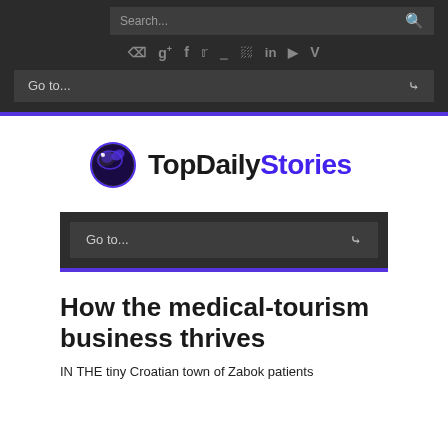Search... [search icon]
Social icons: RSS, Google+, Facebook, Twitter, Houzz, Dribbble, LinkedIn, YouTube, Vimeo
Go to... [dropdown]
[Figure (logo): TopDailyStories logo with globe icon. 'TopDaily' in black bold, 'Stories' in purple bold.]
Go to... [dropdown]
How the medical-tourism business thrives
IN THE tiny Croatian town of Zabok patients